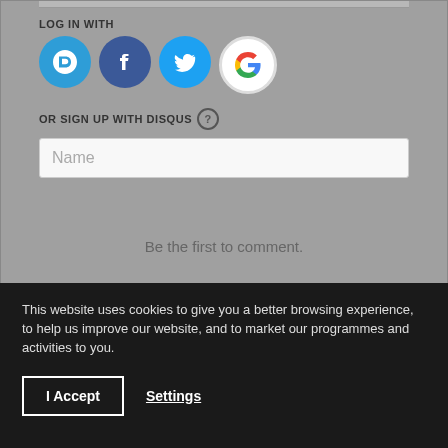LOG IN WITH
[Figure (illustration): Four social login icons: Disqus (blue circle with D), Facebook (dark blue circle with f), Twitter (light blue circle with bird), Google (white/red circle with G)]
OR SIGN UP WITH DISQUS ?
Name
Be the first to comment.
Subscribe   Do Not Sell My Data   DISQUS
This website uses cookies to give you a better browsing experience, to help us improve our website, and to market our programmes and activities to you.
I Accept
Settings